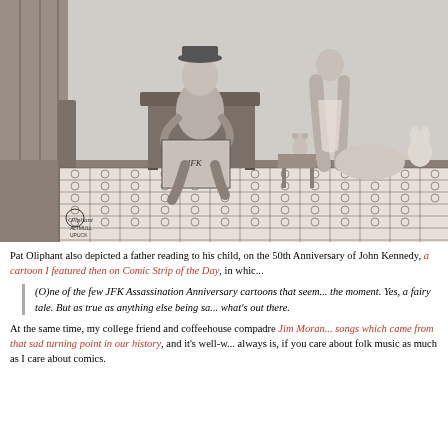[Figure (illustration): A black-and-white political cartoon by Pat Oliphant showing a father sitting in a chair reading a book labeled 'JFK' to a child in bed. The bed has a patterned quilt. There are stuffed animals (rabbit, bear) visible. A woman stands in the background. The cartoon is signed 'Oliphant' with 'Altmull Upuck' below. Rendered in detailed pencil/ink sketch style.]
Pat Oliphant also depicted a father reading to his child, on the 50th Anniversary of John Kennedy, a cartoon I featured then on Comic Strip of the Day, in which...
(O)ne of the few JFK Assassination Anniversary cartoons that seem... the moment. Yes, a fairy tale. But as true as anything else being sa... what's out there.
At the same time, my college friend and coffeehouse compadre Jim Moran... songs which came from that sad turning point in our history, and it's well-w... always is, if you care about folk music as much as I care about comics.